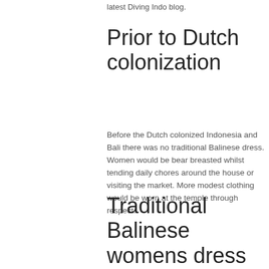latest Diving Indo blog.
Prior to Dutch colonization
Before the Dutch colonized Indonesia and Bali there was no traditional Balinese dress. Women would be bear breasted whilst tending daily chores around the house or visiting the market. More modest clothing would be worn at the temple through respect.
Traditional Balinese womens dress